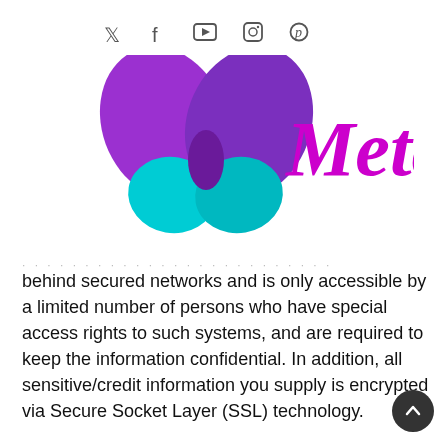Social media icons: Twitter, Facebook, YouTube, Instagram, Pinterest
[Figure (logo): Metamorphosis butterfly logo with purple and cyan wings and cursive 'Meta' text in purple, partially cropped]
behind secured networks and is only accessible by a limited number of persons who have special access rights to such systems, and are required to keep the information confidential. In addition, all sensitive/credit information you supply is encrypted via Secure Socket Layer (SSL) technology.